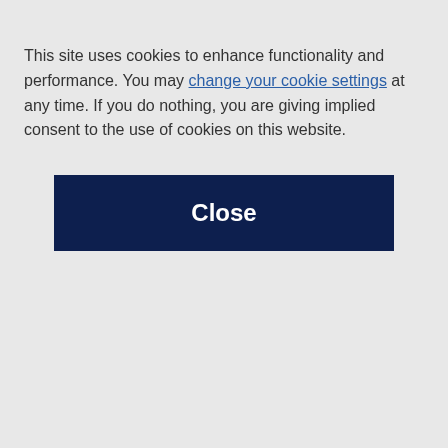Arnold & Porter | Menu
Publications and Presentations
Multilateral Development Banks Not Excluded
U.S. regulators considered, but ultimately did not exclude
This site uses cookies to enhance functionality and performance. You may change your cookie settings at any time. If you do nothing, you are giving implied consent to the use of cookies on this website.
Close